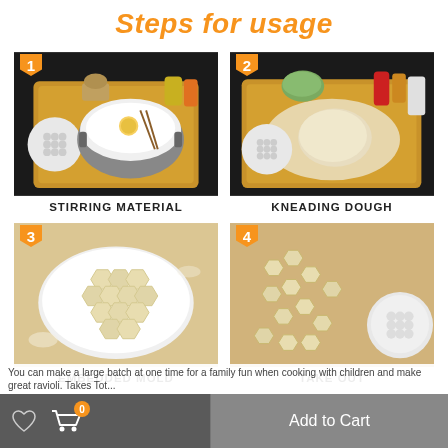Steps for usage
[Figure (photo): Step 1: Stirring material - bowl with flour and egg on wooden cutting board, white mold and ingredients in background]
STIRRING MATERIAL
[Figure (photo): Step 2: Kneading dough - ball of dough on floured wooden board with white mold and condiment bottles in background]
KNEADING DOUGH
[Figure (photo): Step 3: Embedded mold - hexagonal dough pieces arranged in white round mold, floured surface]
EMBEDDED MOLD
[Figure (photo): Step 4: Take out - multiple hexagonal dough pieces removed and scattered on floured surface next to white mold]
TAKE OUT
You can make a large batch at one time for a family fun when cooking with children and make great ravioli. Takes Tot...